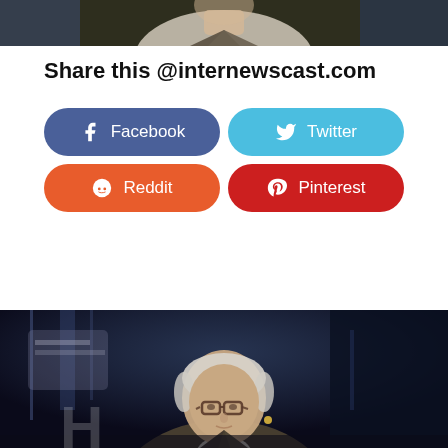[Figure (photo): Partial photo of a person at the top of the page, cropped]
Share this @internewscast.com
[Figure (infographic): Four social share buttons: Facebook (blue), Twitter (light blue), Reddit (orange-red), Pinterest (dark red)]
[Figure (photo): Photo of a man with white/grey hair and glasses wearing a blazer, standing at what appears to be a conference stage with blue lighting]